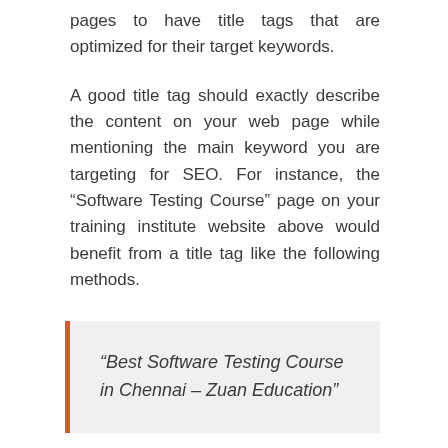pages to have title tags that are optimized for their target keywords.
A good title tag should exactly describe the content on your web page while mentioning the main keyword you are targeting for SEO. For instance, the “Software Testing Course” page on your training institute website above would benefit from a title tag like the following methods.
“Best Software Testing Course in Chennai – Zuan Education”